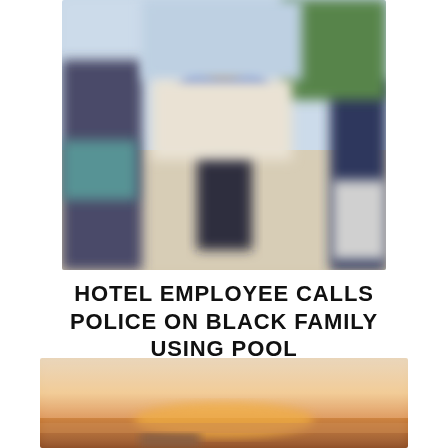[Figure (photo): Blurred outdoor photo showing a person in a blue top with dark pants standing on a paved area, with another person partially visible on the right side. Background shows outdoor scenery.]
HOTEL EMPLOYEE CALLS POLICE ON BLACK FAMILY USING POOL
July 2, 2020
[Figure (photo): Blurred photo showing a warm-toned outdoor scene, likely a pool or water area with sunset/warm lighting, with a person's hand or arm partially visible at the bottom.]